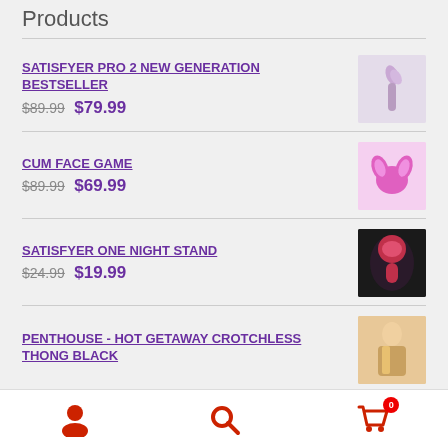Products
SATISFYER PRO 2 NEW GENERATION BESTSELLER
$89.99 $79.99
CUM FACE GAME
$89.99 $69.99
SATISFYER ONE NIGHT STAND
$24.99 $19.99
PENTHOUSE - HOT GETAWAY CROTCHLESS THONG BLACK